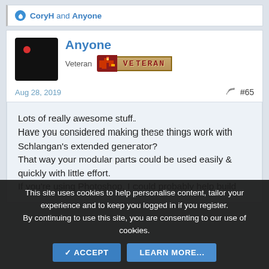CoryH and Anyone
Anyone
Veteran
Aug 28, 2019
#65
Lots of really awesome stuff.
Have you considered making these things work with Schlangan's extended generator?
That way your modular parts could be used easily & quickly with little effort.
If you're using Photoshop, I could probably help build
This site uses cookies to help personalise content, tailor your experience and to keep you logged in if you register.
By continuing to use this site, you are consenting to our use of cookies.